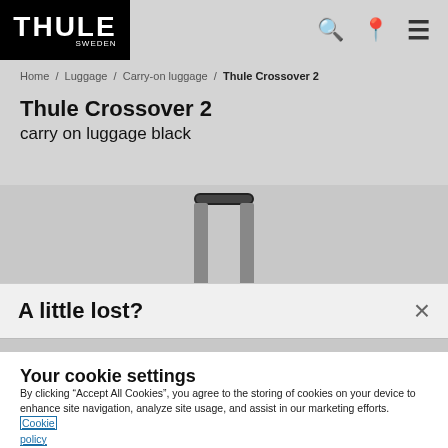THULE SWEDEN
Home / Luggage / Carry-on luggage / Thule Crossover 2
Thule Crossover 2
carry on luggage black
[Figure (photo): Top portion of a black Thule Crossover 2 carry-on luggage showing the telescoping handle]
A little lost?
Your cookie settings
By clicking “Accept All Cookies”, you agree to the storing of cookies on your device to enhance site navigation, analyze site usage, and assist in our marketing efforts. Cookie policy